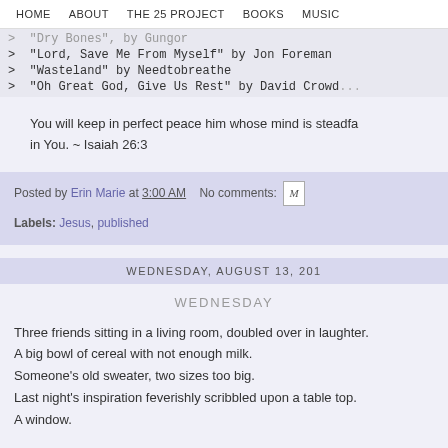HOME   ABOUT   THE 25 PROJECT   BOOKS   MUSIC
> "Dry Bones" by Gungor
> "Lord, Save Me From Myself" by Jon Foreman
> "Wasteland" by Needtobreathe
> "Oh Great God, Give Us Rest" by David Crowder
You will keep in perfect peace him whose mind is steadfast in You. ~ Isaiah 26:3
Posted by Erin Marie at 3:00 AM   No comments:
Labels: Jesus, published
WEDNESDAY, AUGUST 13, 201
WEDNESDAY
Three friends sitting in a living room, doubled over in laughter.
A big bowl of cereal with not enough milk.
Someone's old sweater, two sizes too big.
Last night's inspiration feverishly scribbled upon a table top.
A window.